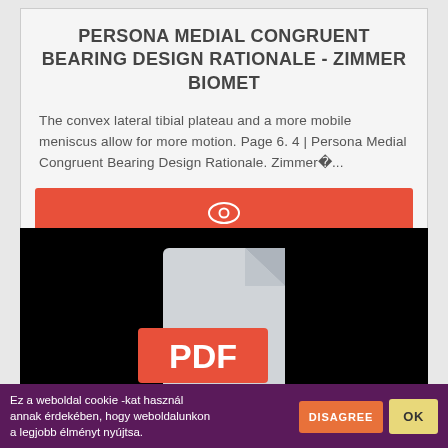PERSONA MEDIAL CONGRUENT BEARING DESIGN RATIONALE - ZIMMER BIOMET
The convex lateral tibial plateau and a more mobile meniscus allow for more motion. Page 6. 4 | Persona Medial Congruent Bearing Design Rationale. Zimmer�...
[Figure (screenshot): Red button with eye icon for viewing document]
[Figure (illustration): PDF file icon on black background - white/grey document with red PDF label]
HANS ZIMMER, JACOB SHEA & DAVID FLEMING
Ez a weboldal cookie -kat használ annak érdekében, hogy weboldalunkon a legjobb élményt nyújtsa.
DISAGREE
OK